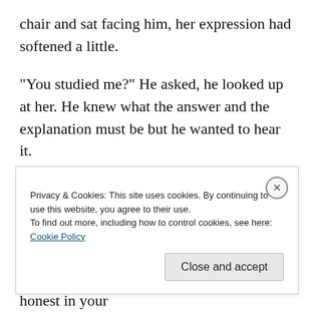chair and sat facing him, her expression had softened a little.
“You studied me?” He asked, he looked up at her. He knew what the answer and the explanation must be but he wanted to hear it.
“I’m not going to donate medical supplies to just any crazy guy off the streets. I made sure you were helping people. I kept news clipping and asked anybody I could on the street for information. I found that you were honest in your intentions and that you really do want to help people. If it
Privacy & Cookies: This site uses cookies. By continuing to use this website, you agree to their use.
To find out more, including how to control cookies, see here: Cookie Policy
Close and accept